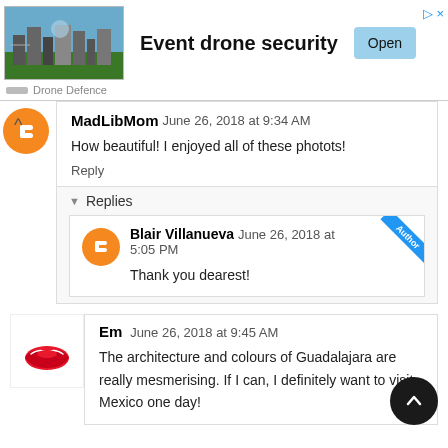[Figure (infographic): Advertisement banner for 'Event drone security' by Drone Defence, with a city skyline photo on the left, bold title text, and a blue 'Open' button on the right.]
MadLibMom  June 26, 2018 at 9:34 AM
How beautiful! I enjoyed all of these photots!
Reply
Replies
Blair Villanueva  June 26, 2018 at 5:05 PM
Thank you dearest!
Em  June 26, 2018 at 9:45 AM
The architecture and colours of Guadalajara are really mesmerising. If I can, I definitely want to visit Mexico one day!